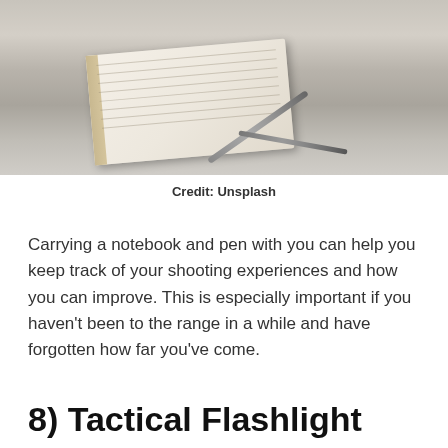[Figure (photo): A photo of an open notebook with a pen resting on it, placed on a desk surface, with another pen beside it and a laptop partially visible in the background.]
Credit: Unsplash
Carrying a notebook and pen with you can help you keep track of your shooting experiences and how you can improve. This is especially important if you haven't been to the range in a while and have forgotten how far you've come.
8) Tactical Flashlight